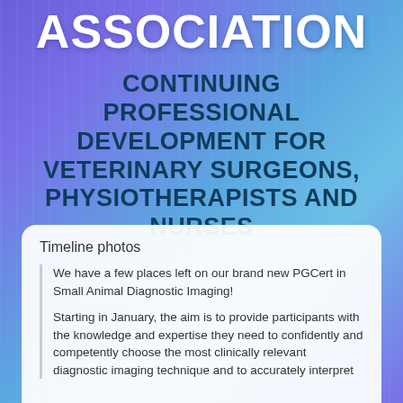ASSOCIATION
CONTINUING PROFESSIONAL DEVELOPMENT FOR VETERINARY SURGEONS, PHYSIOTHERAPISTS AND NURSES
Timeline photos
We have a few places left on our brand new PGCert in Small Animal Diagnostic Imaging!
Starting in January, the aim is to provide participants with the knowledge and expertise they need to confidently and competently choose the most clinically relevant diagnostic imaging technique and to accurately interpret